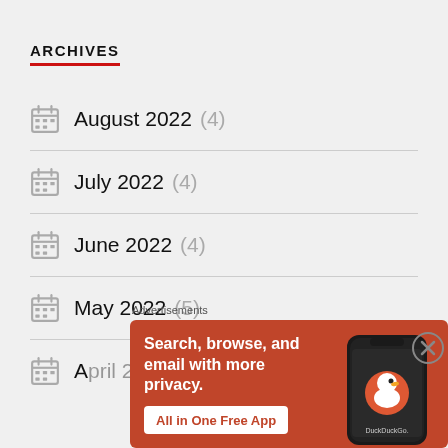ARCHIVES
August 2022 (4)
July 2022 (4)
June 2022 (4)
May 2022 (5)
April 2022 (4)
[Figure (screenshot): DuckDuckGo advertisement banner: orange background with text 'Search, browse, and email with more privacy. All in One Free App' and a phone image showing the DuckDuckGo app logo.]